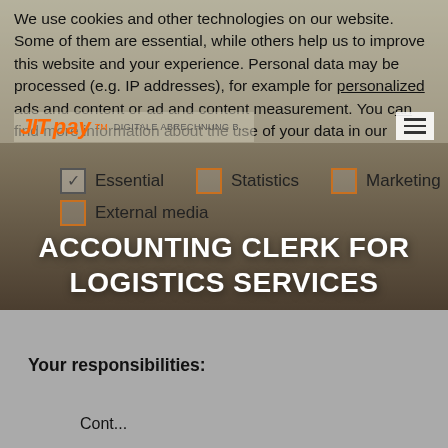We use cookies and other technologies on our website. Some of them are essential, while others help us to improve this website and your experience. Personal data may be processed (e.g. IP addresses), for example for personalized ads and content or ad and content measurement. You can find more information about the use of your data in our
✓ Essential
☐ Statistics
☐ Marketing
☐ External media
ACCOUNTING CLERK FOR LOGISTICS SERVICES
Your responsibilities:
Cont...